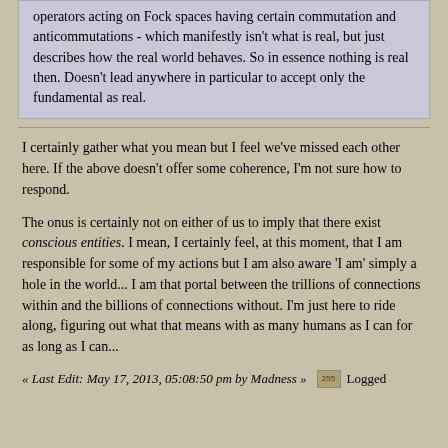operators acting on Fock spaces having certain commutation and anticommutations - which manifestly isn't what is real, but just describes how the real world behaves. So in essence nothing is real then. Doesn't lead anywhere in particular to accept only the fundamental as real.
I certainly gather what you mean but I feel we've missed each other here. If the above doesn't offer some coherence, I'm not sure how to respond.
The onus is certainly not on either of us to imply that there exist conscious entities. I mean, I certainly feel, at this moment, that I am responsible for some of my actions but I am also aware 'I am' simply a hole in the world... I am that portal between the trillions of connections within and the billions of connections without. I'm just here to ride along, figuring out what that means with as many humans as I can for as long as I can...
« Last Edit: May 17, 2013, 05:08:50 pm by Madness »   Logged